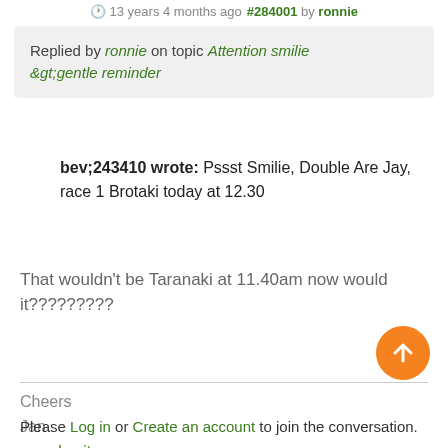13 years 4 months ago #284001 by ronnie
Replied by ronnie on topic Attention smilie &gt;gentle reminder
bev;243410 wrote: Pssst Smilie, Double Are Jay, race 1 Brotaki today at 12.30
That wouldn't be Taranaki at 11.40am now would it?????????
Cheers
Jan
www.kozitoez.co.nz
Please Log in or Create an account to join the conversation.